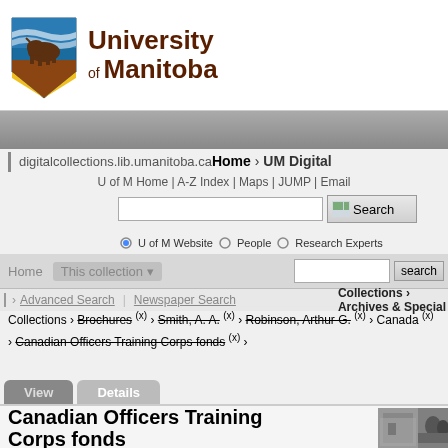[Figure (logo): University of Manitoba logo with bison and shield graphic, text reads 'University of Manitoba']
digitalcollections.lib.umanitoba.ca Home › UM Digital
U of M Home | A-Z Index | Maps | JUMP | Email
U of M Website  People  Research Experts
Home  This collection  Advanced Search  Newspaper Search
Collections › Archives & Special
Collections › Brochures (x) › Smith, A. A. (x) › Robinson, Arthur G. (x) › Canada (x) › Canadian Officers Training Corps fonds (x) ›
View  Details
Canadian Officers Training Corps fonds
[Figure (photo): Black and white photograph showing military personnel]